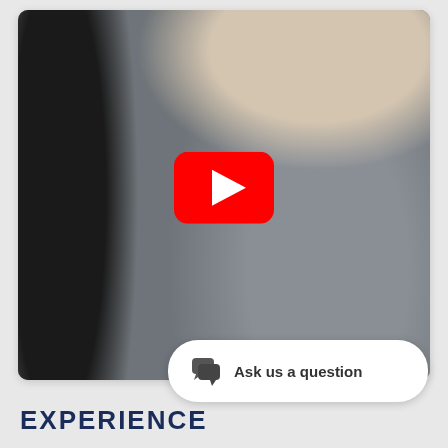[Figure (screenshot): Video thumbnail showing two people having a conversation in a lobby. A YouTube play button (red rounded rectangle with white triangle) is overlaid in the center of the image.]
Ask us a question
EXPERIENCE